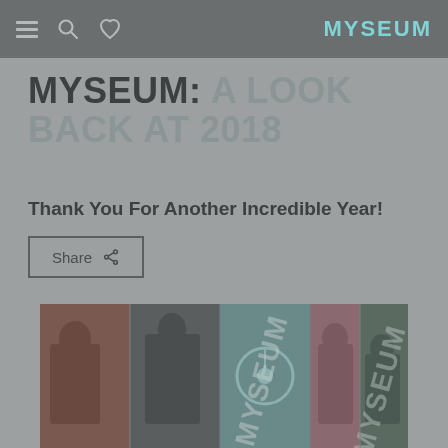MYSEUM
MYSEUM: A LOOK BACK AT 2018
Thank You For Another Incredible Year!
Share
[Figure (photo): Collage of museum photos with MYSEUM watermark text overlaid diagonally across multiple panels showing visitors and art]